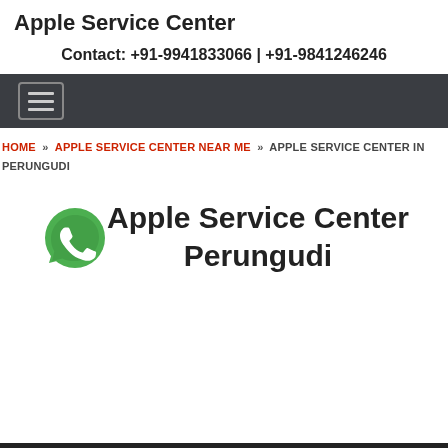Apple Service Center
Contact: +91-9941833066 | +91-9841246246
[Figure (other): Navigation bar with hamburger menu icon on dark background]
HOME » APPLE SERVICE CENTER NEAR ME » APPLE SERVICE CENTER IN PERUNGUDI
Apple Service Center Perungudi